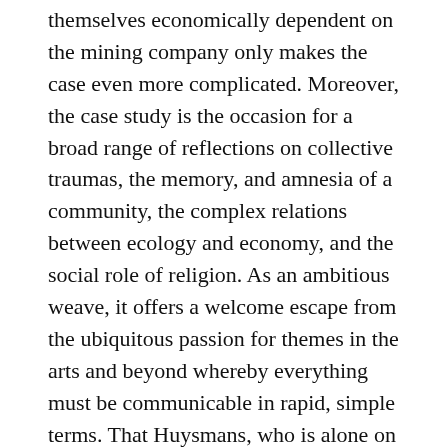themselves economically dependent on the mining company only makes the case even more complicated. Moreover, the case study is the occasion for a broad range of reflections on collective traumas, the memory, and amnesia of a community, the complex relations between ecology and economy, and the social role of religion. As an ambitious weave, it offers a welcome escape from the ubiquitous passion for themes in the arts and beyond whereby everything must be communicable in rapid, simple terms. That Huysmans, who is alone on stage, grew up in the region is mentioned briefly at the start and subsequently not touched upon. A list of mining disasters elsewhere in the world suggests that other places face comparable issues.
In an intriguing, significant manner, the artist is